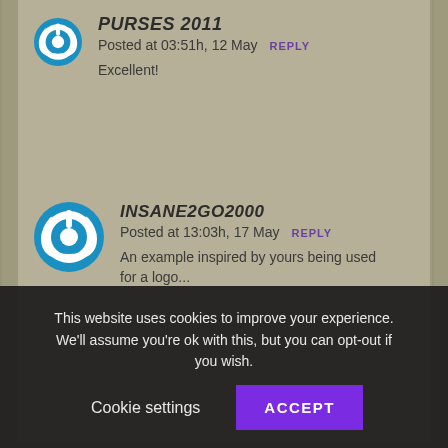[Figure (logo): Blue circular power button icon - avatar for PURSES 2011]
PURSES 2011
Posted at 03:51h, 12 May REPLY
Excellent!
[Figure (logo): Blue circular power button icon - avatar for INSANE2GO2000]
INSANE2GO2000
Posted at 13:03h, 17 May REPLY
An example inspired by yours being used for a logo...
This website uses cookies to improve your experience. We'll assume you're ok with this, but you can opt-out if you wish. Cookie settings ACCEPT